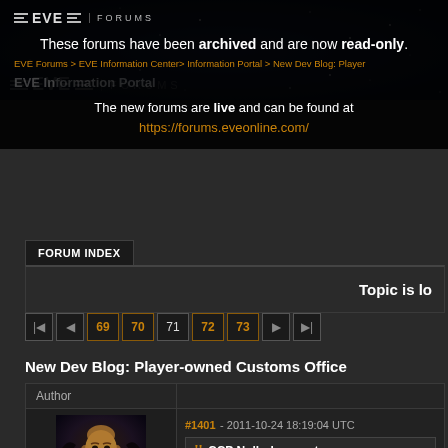[Figure (screenshot): EVE Forums header with starfield background]
These forums have been archived and are now read-only. The new forums are live and can be found at https://forums.eveonline.com/
EVE Forums > EVE Information Center > Information Portal > New Dev Blog: Player
EVE Information Portal
FORUM INDEX
Topic is lo
69 70 71 72 73 (pagination)
New Dev Blog: Player-owned Customs Office
| Author |  |
| --- | --- |
| (avatar image) | #1401 - 2011-10-24 18:19:04 UTC
CCP Nullarbor wrote: |
#1401 - 2011-10-24 18:19:04 UTC
CCP Nullarbor wrote: